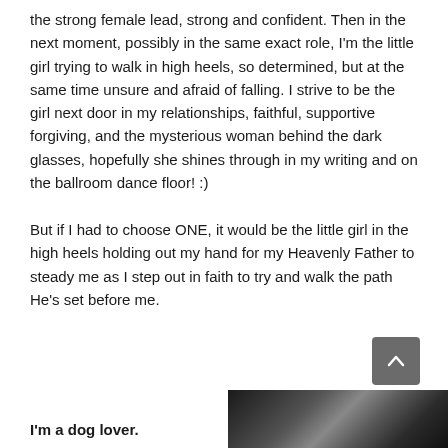the strong female lead, strong and confident. Then in the next moment, possibly in the same exact role, I'm the little girl trying to walk in high heels, so determined, but at the same time unsure and afraid of falling. I strive to be the girl next door in my relationships, faithful, supportive forgiving, and the mysterious woman behind the dark glasses, hopefully she shines through in my writing and on the ballroom dance floor! :)
But if I had to choose ONE, it would be the little girl in the high heels holding out my hand for my Heavenly Father to steady me as I step out in faith to try and walk the path He’s set before me.
I'm a dog lover.
[Figure (photo): A dark photograph showing what appears to be a dog]